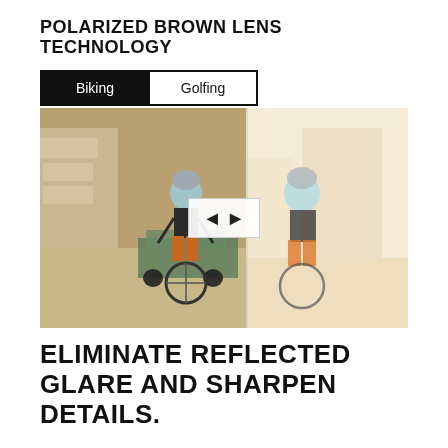POLARIZED BROWN LENS TECHNOLOGY
[Figure (photo): Interactive split-image comparison showing biking scene: left half shows a darker, more detailed, polarized lens view of cyclists on a street; right half shows a brighter, glare-affected, washed-out view of the same scene. Tabs labeled 'Biking' (selected, black background) and 'Golfing' (white background) appear above the image. A slider control with left and right arrows sits at the center dividing line.]
ELIMINATE REFLECTED GLARE AND SHARPEN DETAILS.